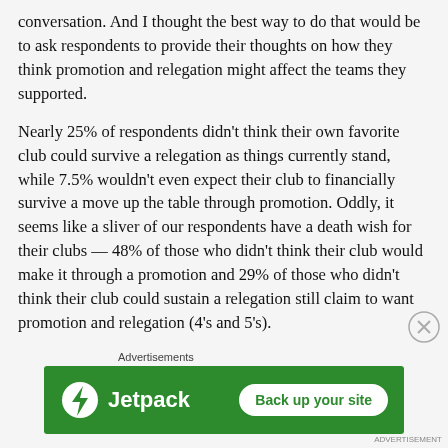conversation. And I thought the best way to do that would be to ask respondents to provide their thoughts on how they think promotion and relegation might affect the teams they supported.
Nearly 25% of respondents didn't think their own favorite club could survive a relegation as things currently stand, while 7.5% wouldn't even expect their club to financially survive a move up the table through promotion. Oddly, it seems like a sliver of our respondents have a death wish for their clubs — 48% of those who didn't think their club would make it through a promotion and 29% of those who didn't think their club could sustain a relegation still claim to want promotion and relegation (4's and 5's).
[Figure (other): Jetpack advertisement banner: green background with Jetpack logo and lightning bolt icon on the left, and a 'Back up your site' button on the right. Labeled 'Advertisements' above.]